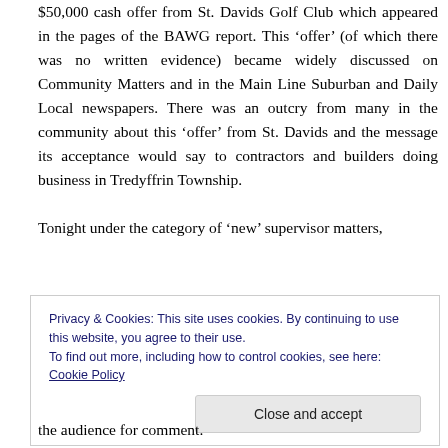$50,000 cash offer from St. Davids Golf Club which appeared in the pages of the BAWG report. This ‘offer’ (of which there was no written evidence) became widely discussed on Community Matters and in the Main Line Suburban and Daily Local newspapers. There was an outcry from many in the community about this ‘offer’ from St. Davids and the message its acceptance would say to contractors and builders doing business in Tredyffrin Township.
Tonight under the category of ‘new’ supervisor matters,
Privacy & Cookies: This site uses cookies. By continuing to use this website, you agree to their use.
To find out more, including how to control cookies, see here: Cookie Policy
the audience for comment.